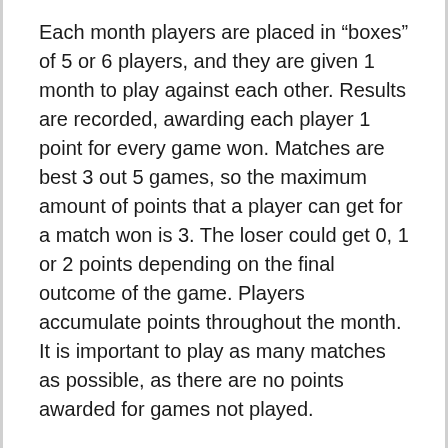Each month players are placed in “boxes” of 5 or 6 players, and they are given 1 month to play against each other. Results are recorded, awarding each player 1 point for every game won. Matches are best 3 out 5 games, so the maximum amount of points that a player can get for a match won is 3. The loser could get 0, 1 or 2 points depending on the final outcome of the game. Players accumulate points throughout the month. It is important to play as many matches as possible, as there are no points awarded for games not played.
The movement of players up and down boxes ensures that players will face different opponents each month. Players will gravitate towards boxes with players of similar skill level, meeting both stronger and weaker players. This is a desirable part of the ladder that makes it interesting and